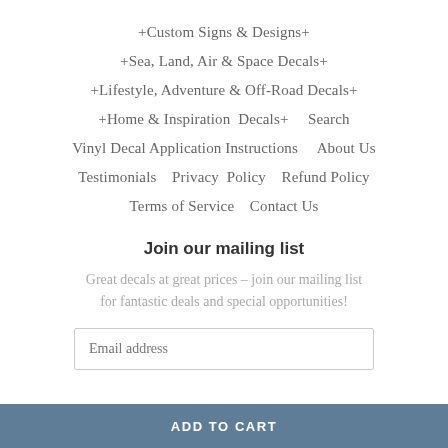+Custom Signs & Designs+
+Sea, Land, Air & Space Decals+
+Lifestyle, Adventure & Off-Road Decals+
+Home & Inspiration Decals+     Search
Vinyl Decal Application Instructions     About Us
Testimonials     Privacy Policy     Refund Policy
Terms of Service     Contact Us
Join our mailing list
Great decals at great prices – join our mailing list for fantastic deals and special opportunities!
Email address
ADD TO CART